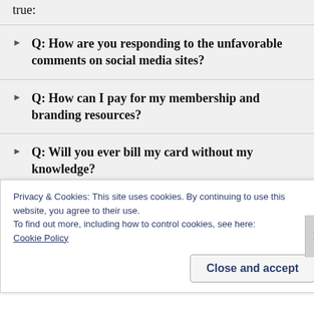true:
Q: How are you responding to the unfavorable comments on social media sites?
Q: How can I pay for my membership and branding resources?
Q: Will you ever bill my card without my knowledge?
Q: Why did my bank put a FRAUD alert on your transaction?
Privacy & Cookies: This site uses cookies. By continuing to use this website, you agree to their use.
To find out more, including how to control cookies, see here:
Cookie Policy
Close and accept